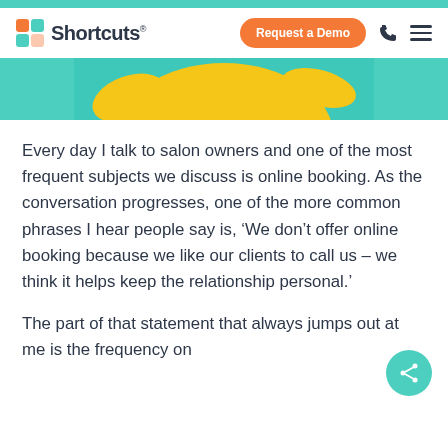Shortcuts — Request a Demo
[Figure (photo): Partial photo of a person in a yellow outfit against a teal background, cropped to show torso/arms only.]
Every day I talk to salon owners and one of the most frequent subjects we discuss is online booking. As the conversation progresses, one of the more common phrases I hear people say is, ‘We don’t offer online booking because we like our clients to call us – we think it helps keep the relationship personal.’
The part of that statement that always jumps out at me is the frequency on